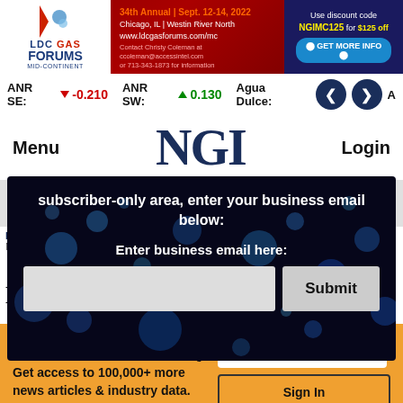[Figure (screenshot): Banner advertisement for LDC Gas Forums Mid-Continent, 34th Annual Sept. 12-14, 2022, Chicago IL, Westin River North. Use discount code NGIMC125 for $125 off.]
ANR SE: -0.210  ANR SW: 0.130  Agua Dulce:
NGI
Menu
Login
subscriber-only area, enter your business email below:
Enter business email here:
Submit
NGI
Do...
You have 3 free articles remaining. Get access to 100,000+ more news articles & industry data.
View Subscription Options
Sign In